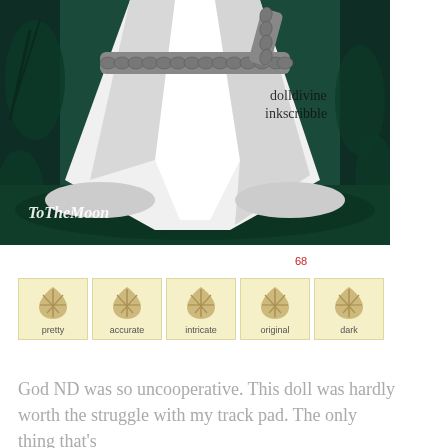[Figure (illustration): Digital illustration of a white flowing dress with a chain belt, with dark teal/green background vegetation. Watermarks read 'dolldivine inkscribble' and 'ToTheMoon' in stylized text.]
68
[Figure (infographic): Five rating badges with shell/fan icons on pale yellow backgrounds labeled: pretty, accurate, intricate, original, dark]
God ND was so uncooperative. This doll was hardly worth the struggle with my track pad. The only thing that's